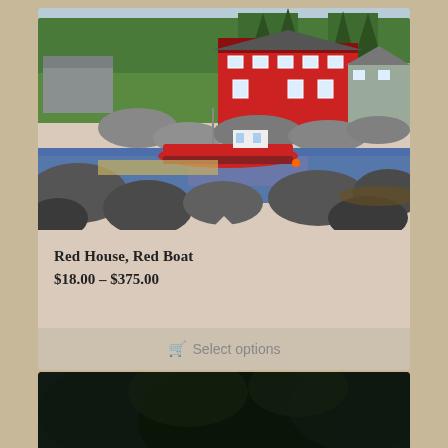[Figure (illustration): Painting of a coastal New England scene with a red house and red fishing boat, rocky shoreline, water, and trees in the background]
Red House, Red Boat
$18.00 – $375.00
Select options
[Figure (photo): Dark image partially visible at the bottom of the page, appears to be a dark wooded or nature scene]